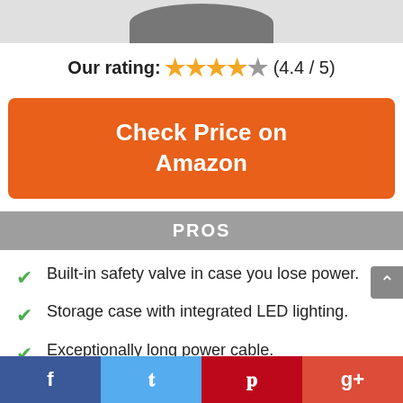[Figure (photo): Partial product image cropped at top of page]
Our rating: ★★★★☆ (4.4 / 5)
Check Price on Amazon
PROS
Built-in safety valve in case you lose power.
Storage case with integrated LED lighting.
Exceptionally long power cable.
Facebook Twitter Pinterest Google+